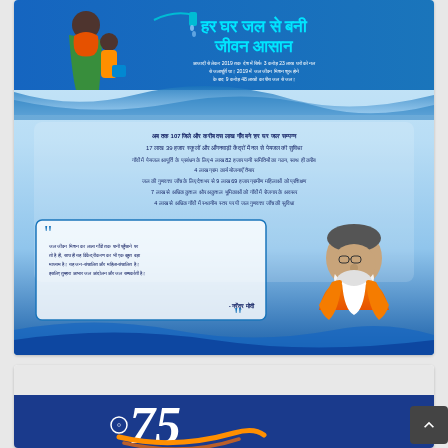[Figure (infographic): Indian government Jal Jeevan Mission infographic in Hindi. Title reads 'Har Ghar Jal Se Bani Jeevan Aasaan' (Tap water at every home made life easy). Contains statistics about rural water supply, mentions 107 districts, 17 lakh 39 thousand schools and anganwadi centers, water quality testing, women self-help groups, 5 lakh gram action plans. Includes a quote from PM Narendra Modi. PM Modi's photo is in the lower right. Bottom portion shows Azadi Ka Amrit Mahotsav logo with '75' emblem in blue and saffron.]
[Figure (logo): Azadi Ka Amrit Mahotsav logo with '75' numeral and Indian flag colors on blue background, partially visible at bottom of page.]